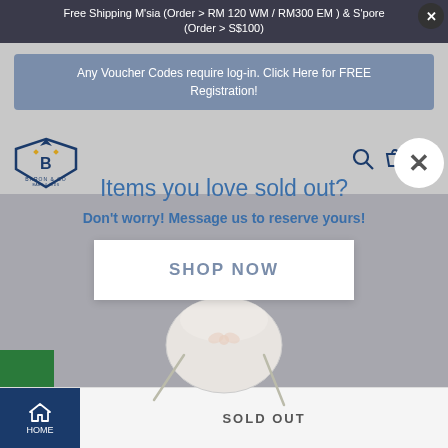Free Shipping M'sia (Order > RM 120 WM / RM300 EM ) & S'pore (Order > S$100)
Any Voucher Codes require log-in. Click Here for FREE Registration!
[Figure (logo): Baron & Co logo with shield emblem]
Items you love sold out?
Don't worry! Message us to reserve yours!
[Figure (other): SHOP NOW button overlay]
[Figure (photo): White face mask product image]
HOME    SOLD OUT